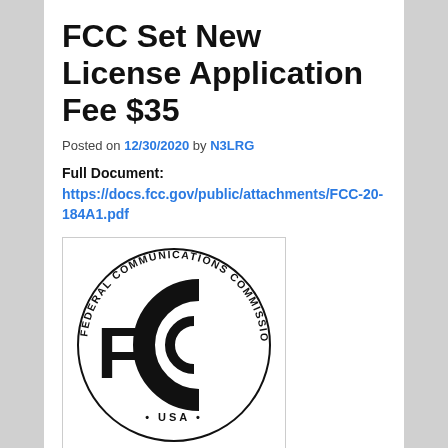FCC Set New License Application Fee $35
Posted on 12/30/2020 by N3LRG
Full Document:
https://docs.fcc.gov/public/attachments/FCC-20-184A1.pdf
[Figure (logo): FCC Federal Communications Commission USA seal/logo — circular text reading FEDERAL COMMUNICATIONS COMMISSION around the outside, FCC initials large in center, USA at bottom]
After reviewing the record, including the extensive comments filed by amateur radio licensees and based on our revised analysis of the cost of processing mostly